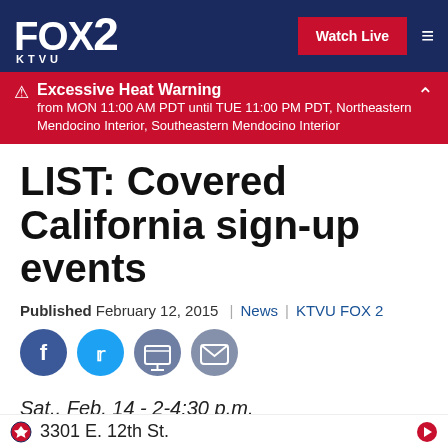[Figure (logo): FOX 2 KTVU television station logo on dark navy background]
Watch Live
Excessive Heat Warning
from MON 11:00 AM PDT until TUE 11:00 PM PDT, Northeastern Mendocino Interior, Southeastern Mendocino Interior
LIST: Covered California sign-up events
Published February 12, 2015  |  News  |  KTVU FOX 2
[Figure (infographic): Social sharing icons: Facebook, Twitter, Print, Email]
Sat., Feb. 14 - 2-4:30 p.m.
Oakland Public Library, Cesar Chavez Branch
3301 E. 12th St.